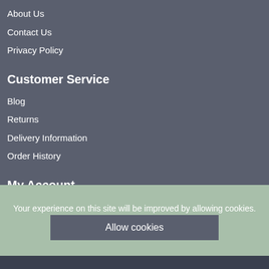About Us
Contact Us
Privacy Policy
Customer Service
Blog
Returns
Delivery Information
Order History
My Account
Account
Login
Register
Your experience on this site will be improved by allowing cookies.
Allow cookies